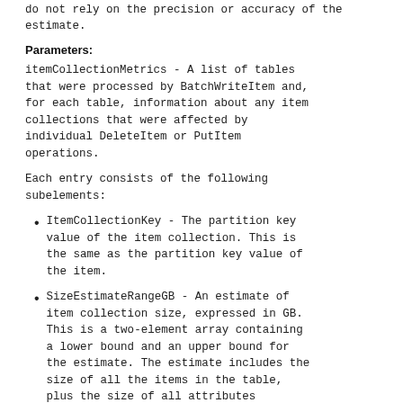do not rely on the precision or accuracy of the estimate.
Parameters:
itemCollectionMetrics - A list of tables that were processed by BatchWriteItem and, for each table, information about any item collections that were affected by individual DeleteItem or PutItem operations.
Each entry consists of the following subelements:
ItemCollectionKey - The partition key value of the item collection. This is the same as the partition key value of the item.
SizeEstimateRangeGB - An estimate of item collection size, expressed in GB. This is a two-element array containing a lower bound and an upper bound for the estimate. The estimate includes the size of all the items in the table, plus the size of all attributes...